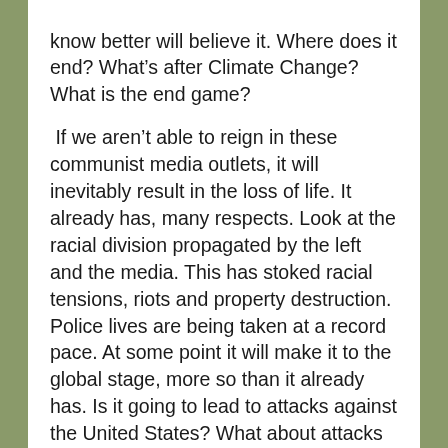know better will believe it. Where does it end? What's after Climate Change? What is the end game?

 If we aren't able to reign in these communist media outlets, it will inevitably result in the loss of life. It already has, many respects. Look at the racial division propagated by the left and the media. This has stoked racial tensions, riots and property destruction. Police lives are being taken at a record pace. At some point it will make it to the global stage, more so than it already has. Is it going to lead to attacks against the United States? What about attacks on other countries? Will it put the American military in harm's way? Will we end up in another senseless war because the MSM Propaganda machine? Could we end up in a civil war? These are real questions. The Press